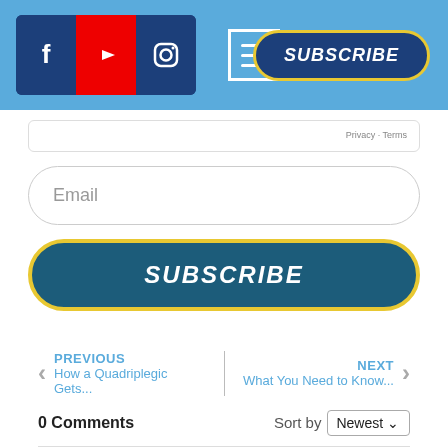[Figure (screenshot): Navigation bar with Facebook, YouTube, Instagram social icons, hamburger menu icon, and SUBSCRIBE button on blue background]
Privacy · Terms
Email
SUBSCRIBE
PREVIOUS
How a Quadriplegic Gets...
NEXT
What You Need to Know...
0 Comments
Sort by Newest